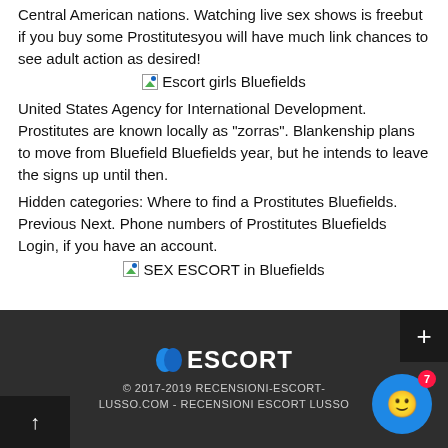concentrated. epidemics have been reported in other Central American nations. Watching live sex shows is freebut if you buy some Prostitutesyou will have much link chances to see adult action as desired!
[Figure (other): Broken image placeholder with caption: Escort girls Bluefields]
United States Agency for International Development. Prostitutes are known locally as "zorras". Blankenship plans to move from Bluefield Bluefields year, but he intends to leave the signs up until then.
Hidden categories: Where to find a Prostitutes Bluefields. Previous Next. Phone numbers of Prostitutes Bluefields Login, if you have an account.
[Figure (other): Broken image placeholder with caption: SEX ESCORT in Bluefields]
© 2017-2019 RECENSIONI-ESCORT-LUSSO.COM - RECENSIONI ESCORT LUSSO